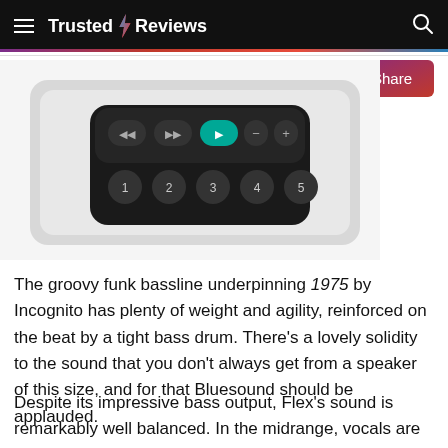Trusted Reviews
[Figure (photo): Top-down view of a Bluesound Flex speaker showing the control panel with playback buttons (rewind, fast-forward, play/pause highlighted in teal, minus, plus) and numbered preset buttons (1, 2, 3, 4, 5) on a black glossy surface set into a silver/white body.]
The groovy funk bassline underpinning 1975 by Incognito has plenty of weight and agility, reinforced on the beat by a tight bass drum. There's a lovely solidity to the sound that you don't always get from a speaker of this size, and for that Bluesound should be applauded.
Despite its impressive bass output, Flex's sound is remarkably well balanced. In the midrange, vocals are clear, detailed and full-bodied. Higher up, Flex whispers